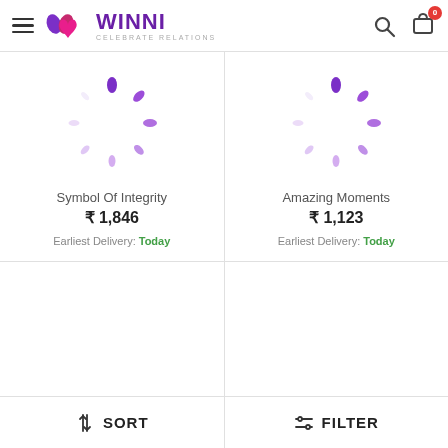WINNI — CELEBRATE RELATIONS
[Figure (illustration): Purple loading spinner animation]
Symbol Of Integrity
₹ 1,846
Earliest Delivery: Today
[Figure (illustration): Purple loading spinner animation]
Amazing Moments
₹ 1,123
Earliest Delivery: Today
SORT | FILTER